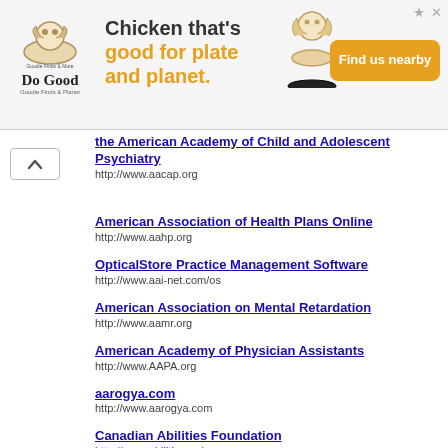[Figure (other): Advertisement banner for Do Good Chicken with logo, tagline 'Chicken that's good for plate and planet.' and orange 'Find us nearby' button]
the American Academy of Child and Adolescent Psychiatry
http://www.aacap.org
American Association of Health Plans Online
http://www.aahp.org
OpticalStore Practice Management Software
http://www.aai-net.com/os
American Association on Mental Retardation
http://www.aamr.org
American Academy of Physician Assistants
http://www.AAPA.org
aarogya.com
http://www.aarogya.com
Canadian Abilities Foundation
http://www.abilities.ca/
Absolute Authority on Children's Health
http://www.absoluteauthority.com/Childrens_Health/
American College of Physicians
http://www.acponline.org
American Council on Science and Health
http://www.acsh.org